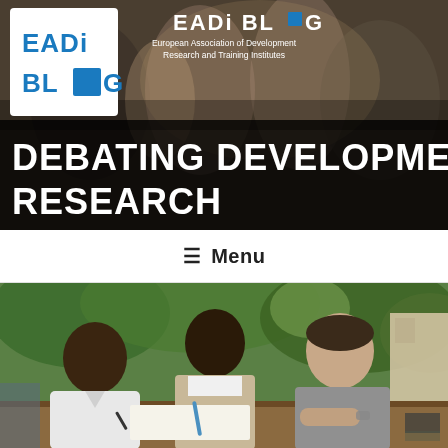[Figure (photo): Header banner photo showing people at a networking event, blurred background, with EADI Blog logo and 'Debating Development Research' text overlay]
[Figure (logo): EADI Blog logo top center with text 'European Association of Development Research and Training Institutes']
DEBATING DEVELOPMENT RESEARCH
≡ Menu
[Figure (photo): Photo of three men sitting at a table outdoors, two African men and one European man writing on paper, trees and building in background]